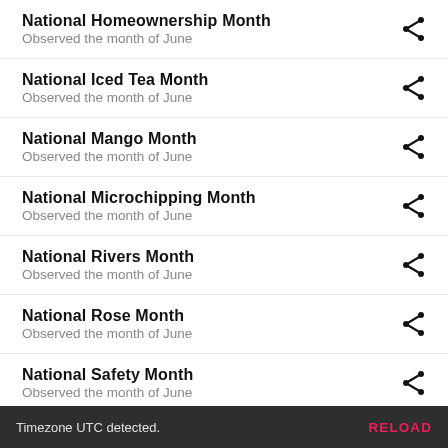National Homeownership Month
Observed the month of June
National Iced Tea Month
Observed the month of June
National Mango Month
Observed the month of June
National Microchipping Month
Observed the month of June
National Rivers Month
Observed the month of June
National Rose Month
Observed the month of June
National Safety Month
Observed the month of June
National Scleroderma Awareness Month
Timezone UTC detected.  RELOAD